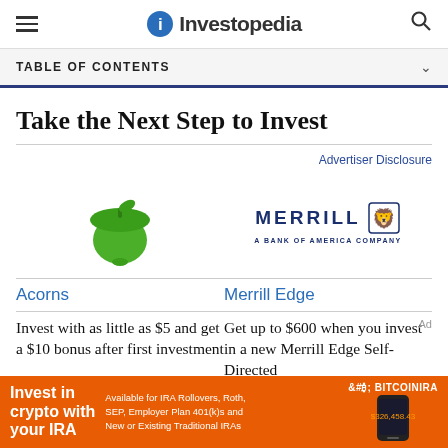Investopedia
TABLE OF CONTENTS
Take the Next Step to Invest
Advertiser Disclosure
[Figure (logo): Acorns green acorn logo]
[Figure (logo): Merrill - A Bank of America Company logo]
Acorns
Merrill Edge
Invest with as little as $5 and get a $10 bonus after first investment
Get up to $600 when you invest in a new Merrill Edge Self-Directed account
[Figure (infographic): BitcoinIRA advertisement banner: Invest in crypto with your IRA. Available for IRA Rollovers, Roth, SEP, Employer Plan 401(k)s and New or Existing Traditional IRAs]